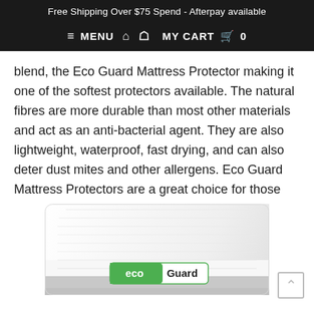Free Shipping Over $75 Spend - Afterpay available
≡ MENU   🏠   👤   MY CART   🛒   0
blend, the Eco Guard Mattress Protector making it one of the softest protectors available. The natural fibres are more durable than most other materials and act as an anti-bacterial agent. They are also lightweight, waterproof, fast drying, and can also deter dust mites and other allergens. Eco Guard Mattress Protectors are a great choice for those experiencing continence or bedwetting issues.
[Figure (photo): White mattress protector product photo with eco Guard logo label at bottom, showing folded white fabric texture]